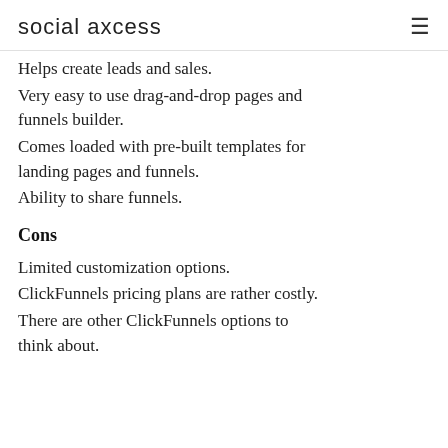social axcess
Helps create leads and sales.
Very easy to use drag-and-drop pages and funnels builder.
Comes loaded with pre-built templates for landing pages and funnels.
Ability to share funnels.
Cons
Limited customization options.
ClickFunnels pricing plans are rather costly.
There are other ClickFunnels options to think about.